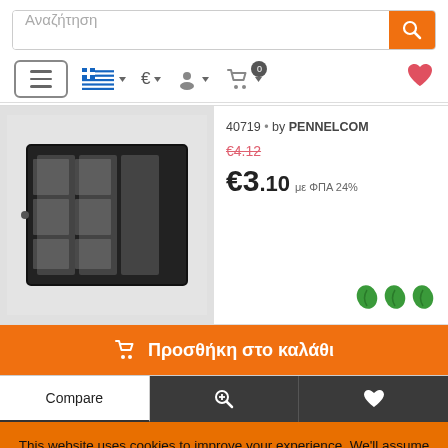[Figure (screenshot): E-commerce product page showing a search bar with orange search button, navigation bar with hamburger menu, Greek flag, euro selector, user icon, cart with 0 badge, and heart icon. Product image of black metal component. Product details: 40719 by PENNELCOM, old price €4.12 (strikethrough), new price €3.10 με ΦΠΑ 24%, green leaf icons. Orange add-to-cart button (Προσθήκη στο καλάθι), Compare/zoom/wishlist buttons. Cookie consent banner with orange background.]
Αναζήτηση
40719 • by PENNELCOM
€4.12
€3.10 με ΦΠΑ 24%
Προσθήκη στο καλάθι
Compare
This website uses cookies to improve your experience. We'll assume you're ok with this, but you can opt-out if you wish. Cookie settings
ACCEPT